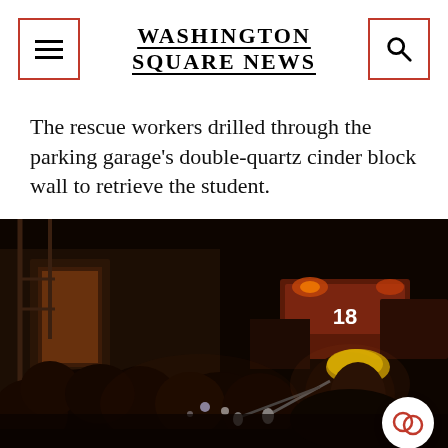Washington Square News
The rescue workers drilled through the parking garage's double-quartz cinder block wall to retrieve the student.
[Figure (photo): Nighttime outdoor press conference scene showing a group of reporters and cameramen surrounding a fire official wearing a yellow helmet, with emergency vehicles visible in the background displaying the number 18.]